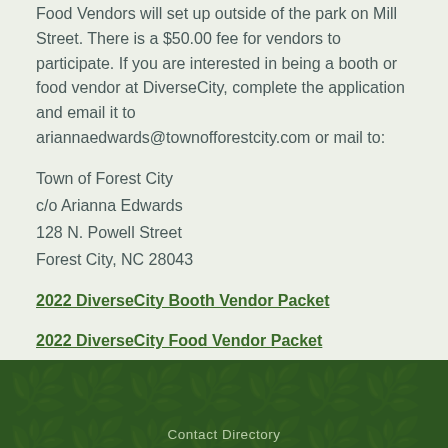Food Vendors will set up outside of the park on Mill Street. There is a $50.00 fee for vendors to participate. If you are interested in being a booth or food vendor at DiverseCity, complete the application and email it to ariannaedwards@townofforestcity.com or mail to:
Town of Forest City
c/o Arianna Edwards
128 N. Powell Street
Forest City, NC 28043
2022 DiverseCity Booth Vendor Packet
2022 DiverseCity Food Vendor Packet
Contact Directory